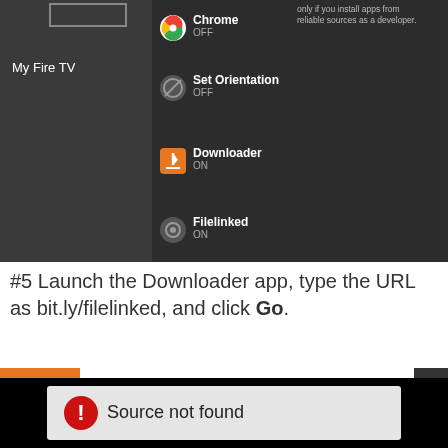[Figure (screenshot): Amazon Fire TV settings screen showing My Fire TV panel with Chrome OFF, Set Orientation OFF, Downloader ON, Filelinked ON, and a note about installing apps from reliable sources.]
#5 Launch the Downloader app, type the URL as bit.ly/filelinked, and click Go.
[Figure (screenshot): Downloader app screen on Fire TV showing a dark/black background with a 'Source not found' error message box containing a red warning icon.]